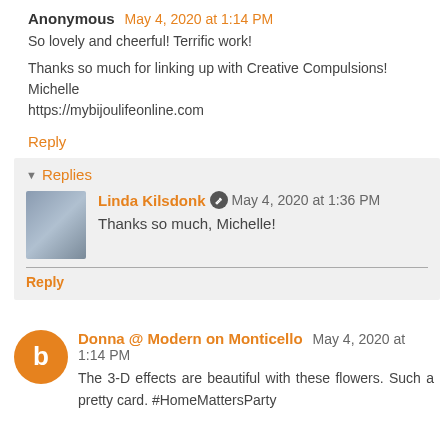Anonymous May 4, 2020 at 1:14 PM
So lovely and cheerful! Terrific work!
Thanks so much for linking up with Creative Compulsions! Michelle
https://mybijoulifeonline.com
Reply
Replies
Linda Kilsdonk May 4, 2020 at 1:36 PM
Thanks so much, Michelle!
Reply
Donna @ Modern on Monticello May 4, 2020 at 1:14 PM
The 3-D effects are beautiful with these flowers. Such a pretty card. #HomeMattersParty